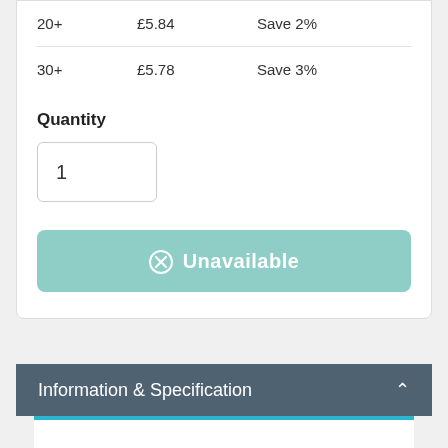| Qty | Price | Saving |
| --- | --- | --- |
| 20+ | £5.84 | Save 2% |
| 30+ | £5.78 | Save 3% |
Quantity
1
⊗ Unavailable
Information & Specification